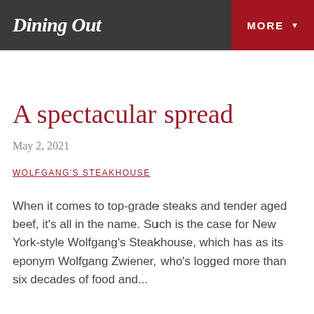Dining Out  MORE
A spectacular spread
May 2, 2021
WOLFGANG'S STEAKHOUSE
When it comes to top-grade steaks and tender aged beef, it's all in the name. Such is the case for New York-style Wolfgang's Steakhouse, which has as its eponym Wolfgang Zwiener, who's logged more than six decades of food and...